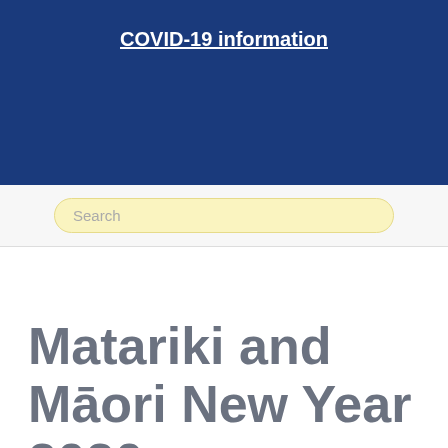COVID-19 information
Search
Matariki and Māori New Year 2020
Home / Hocken Collections /